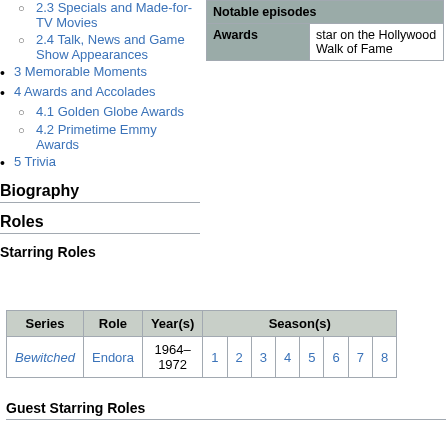2.3 Specials and Made-for-TV Movies
2.4 Talk, News and Game Show Appearances
3 Memorable Moments
4 Awards and Accolades
4.1 Golden Globe Awards
4.2 Primetime Emmy Awards
5 Trivia
|  | Notable episodes |
| --- | --- |
| Awards | star on the Hollywood Walk of Fame |
Biography
Roles
Starring Roles
| Series | Role | Year(s) | Season(s) |
| --- | --- | --- | --- |
| Bewitched | Endora | 1964–1972 | 1 2 3 4 5 6 7 8 |
Guest Starring Roles